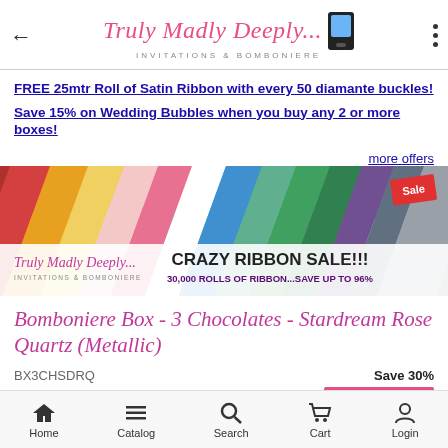Truly Madly Deeply... INVITATIONS & BOMBONIERE
FREE 25mtr Roll of Satin Ribbon with every 50 diamante buckles!
Save 15% on Wedding Bubbles when you buy any 2 or more boxes!
more offers
[Figure (photo): Colorful satin ribbons arranged in a fan pattern with a red Sale badge. Banner shows Truly Madly Deeply logo and text: CRAZY RIBBON SALE!!! 30,000 ROLLS OF RIBBON...SAVE UP TO 96%]
Bomboniere Box - 3 Chocolates - Stardream Rose Quartz (Metallic)
BX3CHSDRQ
Save 30%
Home   Catalog   Search   Cart   Login